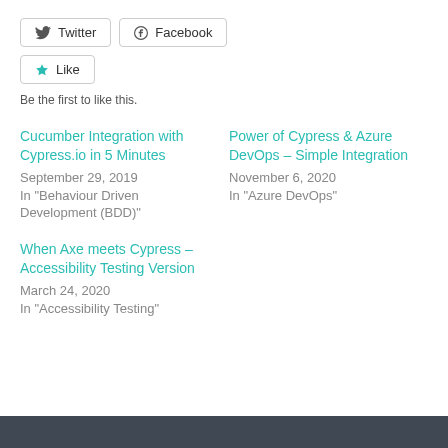[Figure (other): Twitter and Facebook share buttons]
[Figure (other): Like button with star icon]
Be the first to like this.
Cucumber Integration with Cypress.io in 5 Minutes
September 29, 2019
In "Behaviour Driven Development (BDD)"
When Axe meets Cypress – Accessibility Testing Version
March 24, 2020
In "Accessibility Testing"
Power of Cypress & Azure DevOps – Simple Integration
November 6, 2020
In "Azure DevOps"